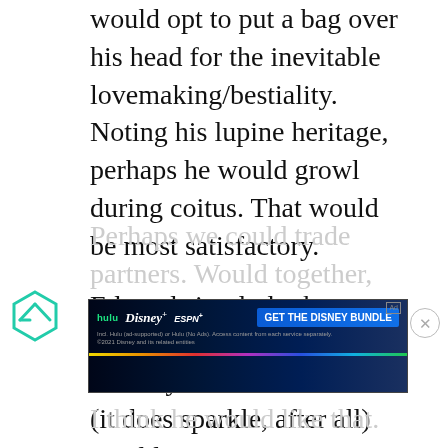would opt to put a bag over his head for the inevitable lovemaking/bestiality. Noting his lupine heritage, perhaps he would growl during coitus. That would be most satisfactory.
Edward simply looks too ill to do anything, much less anyone. His disco stick (it does sparkle, after all) would not sate me.
Perhaps we could trade partners. Would together, I think he would like that.
[Figure (screenshot): Advertisement banner for Disney Bundle (Hulu, Disney+, ESPN+) with dark blue gradient background and colorful bottom bar]